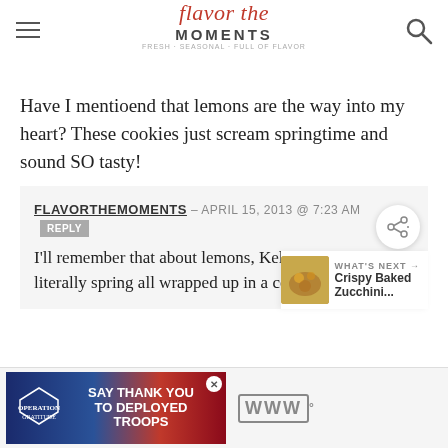Flavor the Moments
Have I mentioend that lemons are the way into my heart? These cookies just scream springtime and sound SO tasty!
FLAVORTHEMOMENTS — APRIL 15, 2013 @ 7:23 AM REPLY
I'll remember that about lemons, Kelly! These are literally spring all wrapped up in a cookie!
[Figure (screenshot): Advertisement banner: Say Thank You to Deployed Troops - Operation Gratitude]
WHAT'S NEXT → Crispy Baked Zucchini...